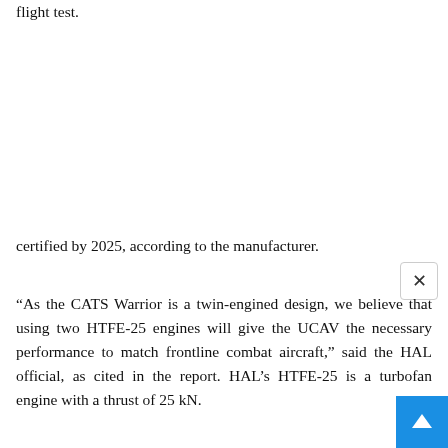flight test.
certified by 2025, according to the manufacturer.
“As the CATS Warrior is a twin-engined design, we believe that using two HTFE-25 engines will give the UCAV the necessary performance to match frontline combat aircraft,” said the HAL official, as cited in the report. HAL’s HTFE-25 is a turbofan engine with a thrust of 25 kN.
India’s Futuristic Aircraft
The Warrior made its debut in 2019 as a result of a collaboration between HAL and a start-up firm. The mock which was on display at Aero India last year, has an internal